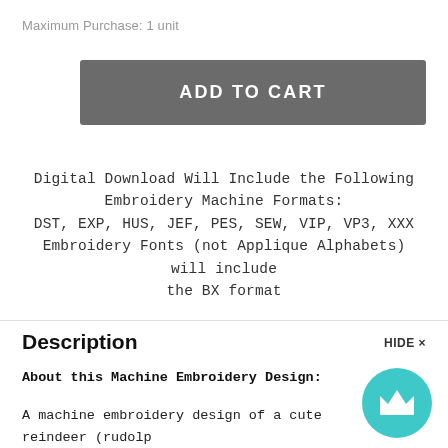Maximum Purchase: 1 unit
ADD TO CART
Digital Download Will Include the Following Embroidery Machine Formats:
DST, EXP, HUS, JEF, PES, SEW, VIP, VP3, XXX
Embroidery Fonts (not Applique Alphabets) will include the BX format
Description
HIDE ×
About this Machine Embroidery Design:
A machine embroidery design of a cute reindeer (rudolp... shiny nose and antlers in a sitting position.
[Figure (illustration): Teal circle with white crown icon, a chat/support widget]